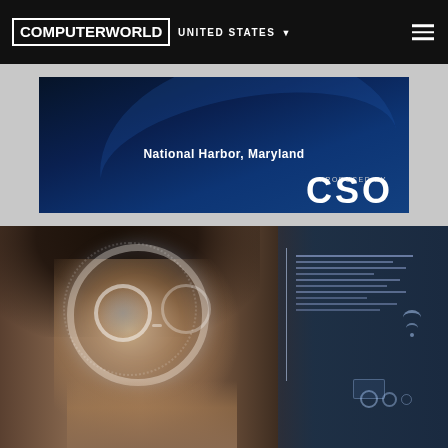COMPUTERWORLD  UNITED STATES
[Figure (illustration): Computerworld website header with dark black navigation bar showing COMPUTERWORLD logo on left, UNITED STATES dropdown in center, and hamburger menu icon on right]
[Figure (photo): Dark blue advertisement banner for an event at National Harbor, Maryland, produced by CSO]
[Figure (photo): Person wearing futuristic transparent circular goggles/visor with digital HUD overlay elements, dark background with technology interface graphics on right side]